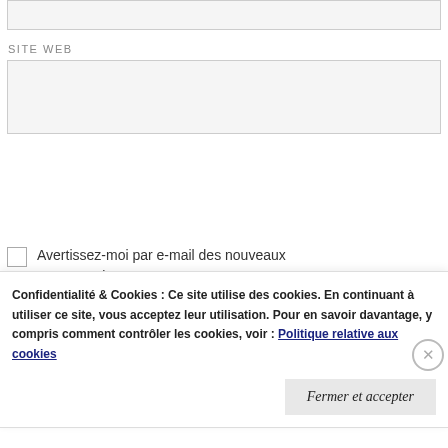SITE WEB
LAISSER UN COMMENTAIRE
Avertissez-moi par e-mail des nouveaux commentaires.
Avertissez-moi par e-mail des nouveaux articles.
Confidentialité & Cookies : Ce site utilise des cookies. En continuant à utiliser ce site, vous acceptez leur utilisation. Pour en savoir davantage, y compris comment contrôler les cookies, voir : Politique relative aux cookies
Fermer et accepter